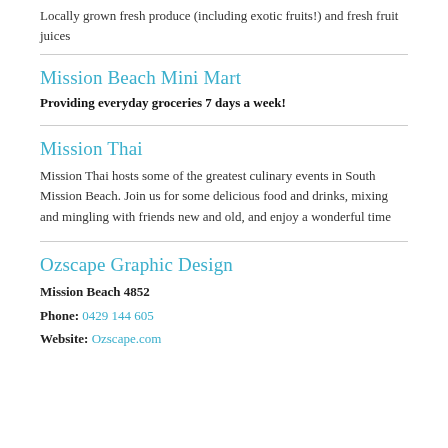Locally grown fresh produce (including exotic fruits!) and fresh fruit juices
Mission Beach Mini Mart
Providing everyday groceries 7 days a week!
Mission Thai
Mission Thai hosts some of the greatest culinary events in South Mission Beach. Join us for some delicious food and drinks, mixing and mingling with friends new and old, and enjoy a wonderful time
Ozscape Graphic Design
Mission Beach 4852
Phone: 0429 144 605
Website: Ozscape.com